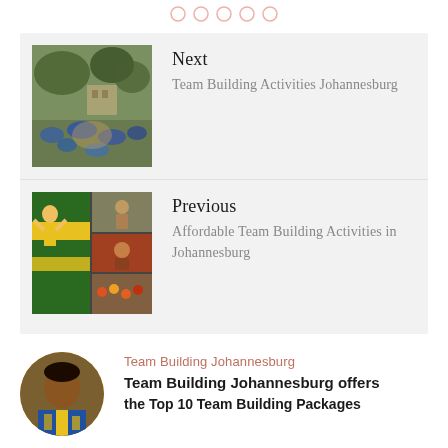[Figure (other): Social media icon circles row at top of page]
[Figure (photo): Outdoor group activity scene with people in a park under trees]
Next
Team Building Activities Johannesburg
[Figure (photo): Collage of team building activity photos including people in yellow and green]
Previous
Affordable Team Building Activities in Johannesburg
[Figure (photo): Circular avatar photo of a man in blue and yellow shirt]
Team Building Johannesburg
Team Building Johannesburg offers
the Top 10 Team Building Packages